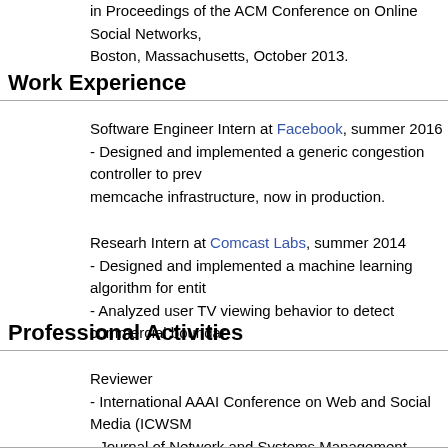in Proceedings of the ACM Conference on Online Social Networks, Boston, Massachusetts, October 2013.
Work Experience
Software Engineer Intern at Facebook, summer 2016
- Designed and implemented a generic congestion controller to prevent overloading memcache infrastructure, now in production.
Researh Intern at Comcast Labs, summer 2014
- Designed and implemented a machine learning algorithm for entity...
- Analyzed user TV viewing behavior to detect commercial boundaries...
Professional Activities
Reviewer
- International AAAI Conference on Web and Social Media (ICWSM)
- Journal of Network and Systems Management (JONS)